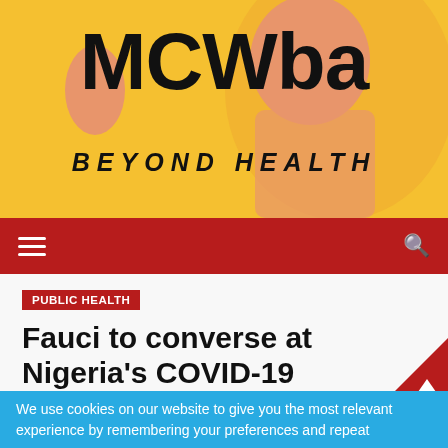[Figure (photo): MCWba Beyond Health website header banner with a woman smiling and holding an oral care device on a yellow/golden background, with large bold black text 'MCWba' and italic 'BEYOND HEALTH']
MCWba BEYOND HEALTH
PUBLIC HEALTH
Fauci to converse at Nigeria's COVID-19
We use cookies on our website to give you the most relevant experience by remembering your preferences and repeat